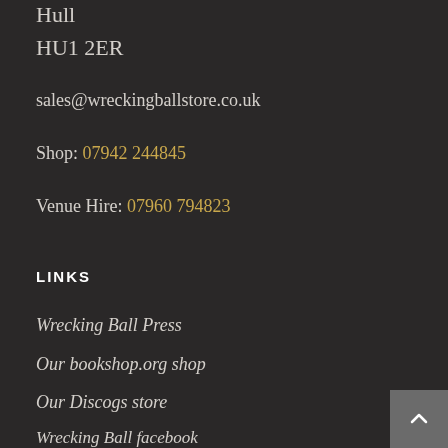Hull
HU1 2ER
sales@wreckingballstore.co.uk
Shop: 07942 244845
Venue Hire: 07960 794823
LINKS
Wrecking Ball Press
Our bookshop.org shop
Our Discogs store
Wrecking Ball facebook
Wrecking Ball twitter